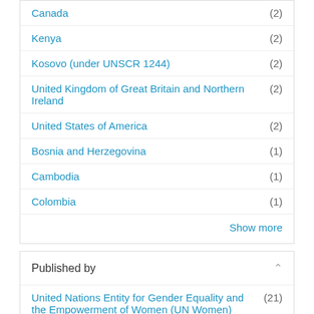Canada (2)
Kenya (2)
Kosovo (under UNSCR 1244) (2)
United Kingdom of Great Britain and Northern Ireland (2)
United States of America (2)
Bosnia and Herzegovina (1)
Cambodia (1)
Colombia (1)
Show more
Published by
United Nations Entity for Gender Equality and the Empowerment of Women (UN Women) (21)
Folke Bernadotte Academy (FBA) (1)
Inter-Parliamentary Union (1)
Office of the United Nations High Commissioner for Human Rights (OHCHR) (1)